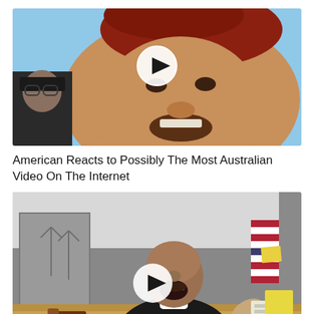[Figure (screenshot): Video thumbnail showing a close-up face with reddish hair against a sky background, with a small inset face in the bottom left corner and a play button overlay]
American Reacts to Possibly The Most Australian Video On The Internet
[Figure (screenshot): Video thumbnail showing a man in a black sweater with mouth open wide, standing behind a desk with a gavel, an American flag visible behind him, with a play button overlay]